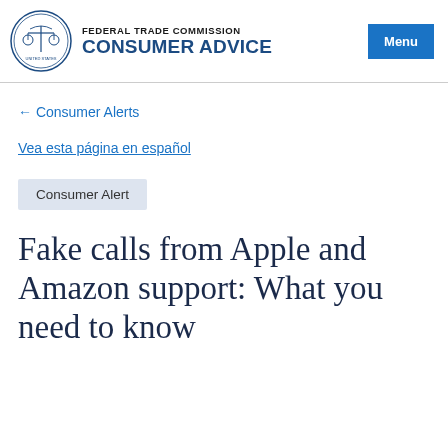FEDERAL TRADE COMMISSION CONSUMER ADVICE Menu
← Consumer Alerts
Vea esta página en español
Consumer Alert
Fake calls from Apple and Amazon support: What you need to know